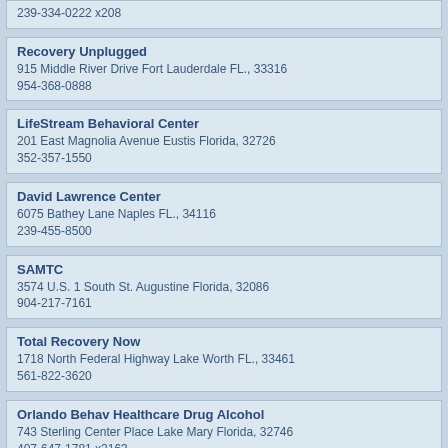239-334-0222 x208
Recovery Unplugged
915 Middle River Drive Fort Lauderdale FL., 33316
954-368-0888
LifeStream Behavioral Center
201 East Magnolia Avenue Eustis Florida, 32726
352-357-1550
David Lawrence Center
6075 Bathey Lane Naples FL., 34116
239-455-8500
SAMTC
3574 U.S. 1 South St. Augustine Florida, 32086
904-217-7161
Total Recovery Now
1718 North Federal Highway Lake Worth FL., 33461
561-822-3620
Orlando Behav Healthcare Drug Alcohol
743 Sterling Center Place Lake Mary Florida, 32746
407-647-1781 x2163